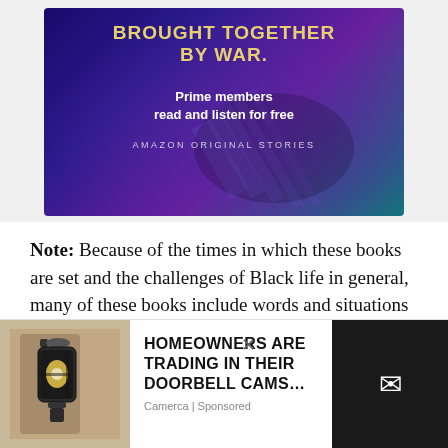[Figure (illustration): Amazon Original Stories ad banner: purple/teal gradient background with decorative stripes, text 'BROUGHT TOGETHER BY WAR.' in gold, 'Prime members read and listen for free' in white bold, 'AMAZON ORIGINAL STORIES' in white spaced caps]
Note: Because of the times in which these books are set and the challenges of Black life in general, many of these books include words and situations that may be triggering or otherwise received in trauma, particularly by Black readers. Consider each book
[Figure (screenshot): Pop-up advertisement overlay: left side shows photo of outdoor lantern on stone wall, center text reads 'HOMEOWNERS ARE TRADING IN THEIR DOORBELL CAMS...' with source 'Camerca | Sponsored', right side dark panel with envelope/email icon, X close button visible]